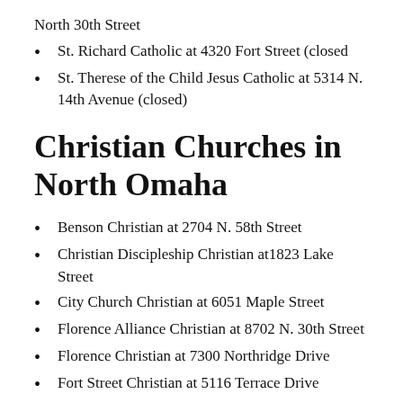North 30th Street
St. Richard Catholic at 4320 Fort Street (closed
St. Therese of the Child Jesus Catholic at 5314 N. 14th Avenue (closed)
Christian Churches in North Omaha
Benson Christian at 2704 N. 58th Street
Christian Discipleship Christian at1823 Lake Street
City Church Christian at 6051 Maple Street
Florence Alliance Christian at 8702 N. 30th Street
Florence Christian at 7300 Northridge Drive
Fort Street Christian at 5116 Terrace Drive
Freedom Christian at 4606 N. 56th Street
Northside Family Christian at 4102 Florence Boulevard
Pilgrim Christian at 2818 N. 70th Street